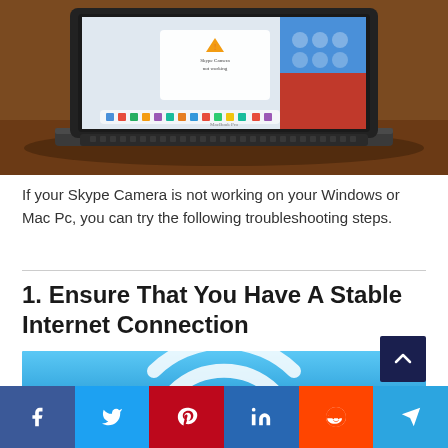[Figure (photo): MacBook Pro laptop on a wooden desk, screen showing macOS with a warning notification, colorful wallpaper visible]
If your Skype Camera is not working on your Windows or Mac Pc, you can try the following troubleshooting steps.
1. Ensure That You Have A Stable Internet Connection
[Figure (illustration): Blue background with white WiFi signal arc icon]
[Figure (other): Social media share bar with Facebook, Twitter, Pinterest, LinkedIn, Reddit, Telegram buttons]